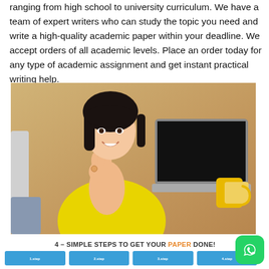ranging from high school to university curriculum. We have a team of expert writers who can study the topic you need and write a high-quality academic paper within your deadline. We accept orders of all academic levels. Place an order today for any type of academic assignment and get instant practical writing help.
[Figure (photo): A smiling young woman with dark hair in a yellow shirt, giving an OK hand gesture, sitting at a wooden table with an open laptop and a yellow mug]
4 – SIMPLE STEPS TO GET YOUR PAPER DONE!
[Figure (infographic): 4 step icons in blue boxes showing steps to get paper done: 1 step, 2 step, 3 step, 4 step]